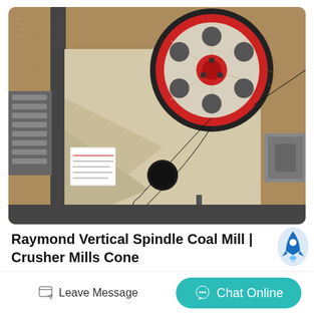[Figure (photo): A coal mill / crusher machine photographed from above outdoors. The machine has a large red and white flywheel/pulley, a cream/beige painted metal body with triangular bracing supports, a black belt, bolt holes, and a grey electric motor on the right side. The background shows brown dried hay or straw on the ground.]
Raymond Vertical Spindle Coal Mill | Crusher Mills Cone
Leave Message
Chat Online